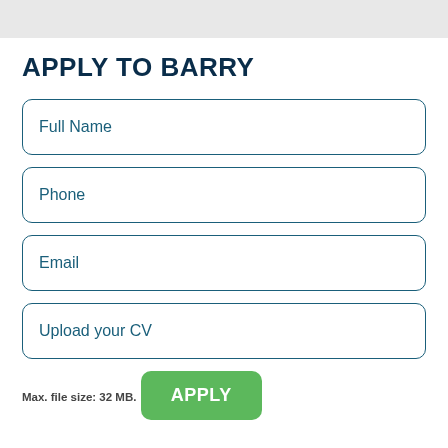APPLY TO BARRY
Full Name
Phone
Email
Upload your CV
Max. file size: 32 MB.
APPLY